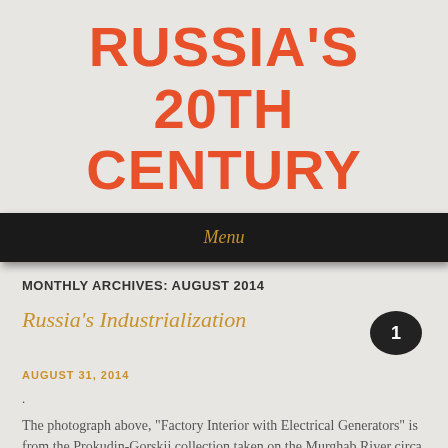RUSSIA'S 20TH CENTURY
Menu
MONTHLY ARCHIVES: AUGUST 2014
Russia's Industrialization
AUGUST 31, 2014
.
The photograph above, "Factory Interior with Electrical Generators" is from the Prokudin-Gorskii collection taken on the Murghab River circa 1910. These generators were imported from Hungary, which helps to give one an idea about Russia's industrialization capacity in the early 1900's.
Before the Crimean war, Russia had a very weak economy with little